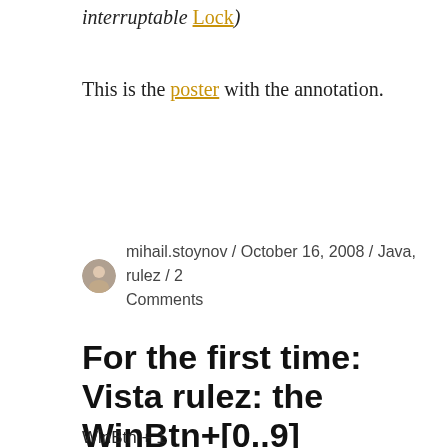interruptable Lock)
This is the poster with the annotation.
mihail.stoynov / October 16, 2008 / Java, rulez / 2 Comments
For the first time: Vista rulez: the WinBtn+[0..9] shortcuts are amazing.
WinBtn + 1